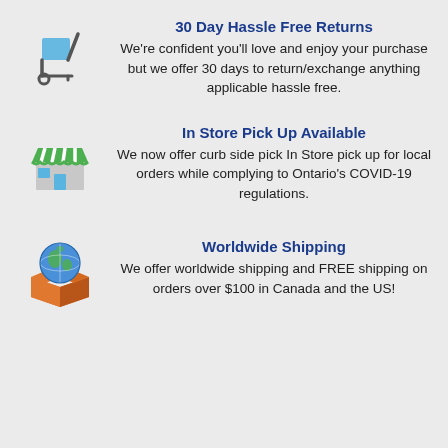30 Day Hassle Free Returns
We're confident you'll love and enjoy your purchase but we offer 30 days to return/exchange anything applicable hassle free.
In Store Pick Up Available
We now offer curb side pick In Store pick up for local orders while complying to Ontario's COVID-19 regulations.
Worldwide Shipping
We offer worldwide shipping and FREE shipping on orders over $100 in Canada and the US!